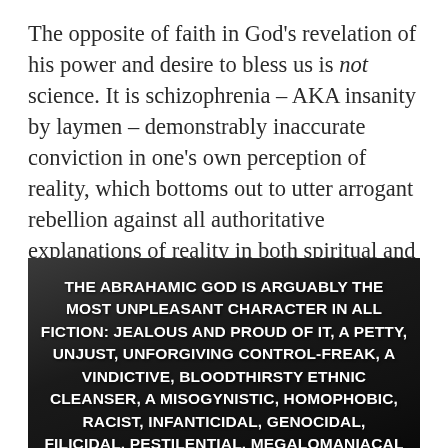The opposite of faith in God's revelation of his power and desire to bless us is not science. It is schizophrenia – AKA insanity by laymen – demonstrably inaccurate conviction in one's own perception of reality, which bottoms out to utter arrogant rebellion against all authoritative explanations of reality in both spiritual and physical domains.
[Figure (photo): Black and white photo of an older man's face, with overlaid bold white text: THE ABRAHAMIC GOD IS ARGUABLY THE MOST UNPLEASANT CHARACTER IN ALL FICTION: JEALOUS AND PROUD OF IT, A PETTY, UNJUST, UNFORGIVING CONTROL-FREAK, A VINDICTIVE, BLOODTHIRSTY ETHNIC CLEANSER, A MISOGYNISTIC, HOMOPHOBIC, RACIST, INFANTICIDAL, GENOCIDAL, FILICIDAL, PESTILENTIAL, MEGALOMANIACAL]